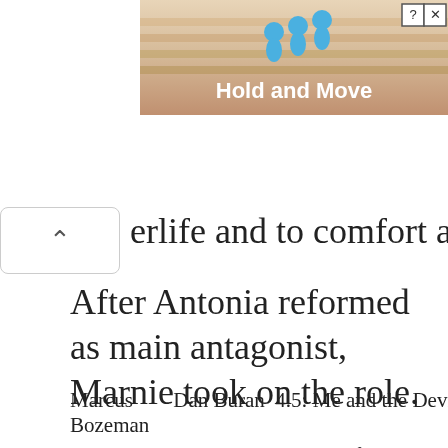[Figure (screenshot): Advertisement banner showing 'Hold and Move' game with blue figures on staircase background, with close/help buttons in top right]
erlife and to comfort and forgive her.
After Antonia reformed as main antagonist, Marnie took on the role.
Marcus Bozeman   Dan Buran  4.5: Me and the Devil   4,
Marcus Bozeman is the werewolf pack leader of Shreveport. He shows up at Alcide's house urging him to join his pack now that he's moved to Shreveport, b Alcide refuses. Marcus then visits Debbie to get her to convince Alcide to join, which he eventually does. Marcus sees potential in Alcide to rise up the ranks in the pack and urges the pack to stay out of the war between vampires and witches. Marcus is then reveale